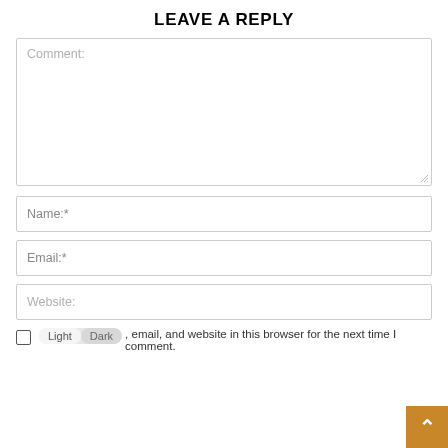LEAVE A REPLY
Comment:
Name:*
Email:*
Website:
, email, and website in this browser for the next time I comment.